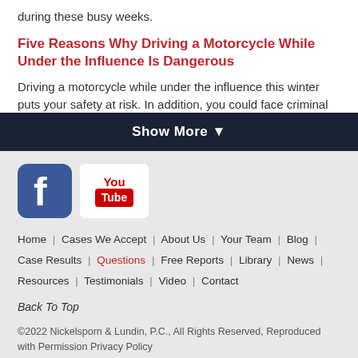during these busy weeks.
Five Reasons Why Driving a Motorcycle While Under the Influence Is Dangerous
Driving a motorcycle while under the influence this winter puts your safety at risk. In addition, you could face criminal
Show More ▼
[Figure (logo): Facebook and YouTube social media icons]
Home | Cases We Accept | About Us | Your Team | Blog | Case Results | Questions | Free Reports | Library | News | Resources | Testimonials | Video | Contact
Back To Top
©2022 Nickelsporn & Lundin, P.C., All Rights Reserved, Reproduced with Permission Privacy Policy
Website Built by FOSTER WEB MARKETING